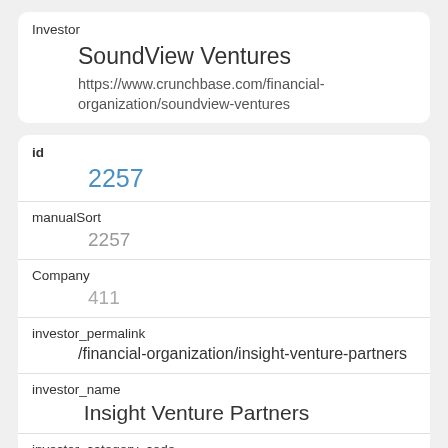Investor
SoundView Ventures
https://www.crunchbase.com/financial-organization/soundview-ventures
id
2257
manualSort
2257
Company
411
investor_permalink
/financial-organization/insight-venture-partners
investor_name
Insight Venture Partners
investor_category_code
investor_country_code
USA
investor_state_code